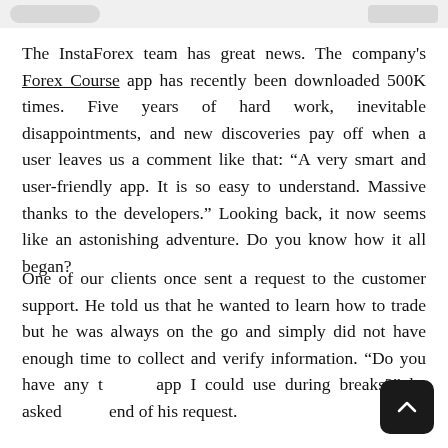[Figure (other): Top navigation bar area with pill-shaped and rectangular gray UI elements]
The InstaForex team has great news. The company's Forex Course app has recently been downloaded 500K times. Five years of hard work, inevitable disappointments, and new discoveries pay off when a user leaves us a comment like that: “A very smart and user-friendly app. It is so easy to understand. Massive thanks to the developers.” Looking back, it now seems like an astonishing adventure. Do you know how it all began?
One of our clients once sent a request to the customer support. He told us that he wanted to learn how to trade but he was always on the go and simply did not have enough time to collect and verify information. “Do you have any trading app I could use during breaks?” he asked at the end of his request.